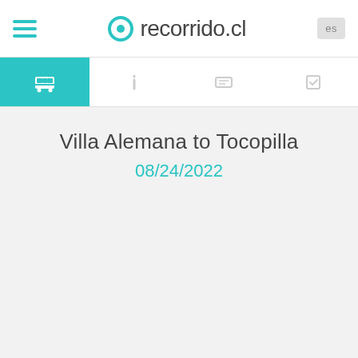recorrido.cl
Villa Alemana to Tocopilla
08/24/2022